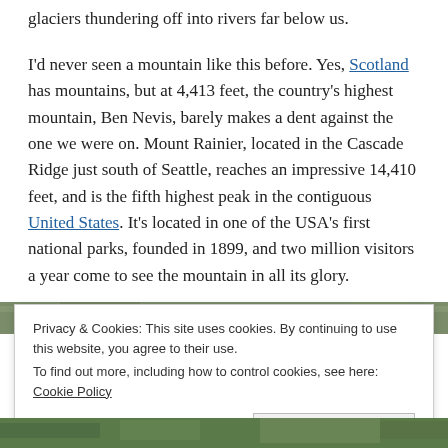glaciers thundering off into rivers far below us.
I'd never seen a mountain like this before. Yes, Scotland has mountains, but at 4,413 feet, the country's highest mountain, Ben Nevis, barely makes a dent against the one we were on. Mount Rainier, located in the Cascade Ridge just south of Seattle, reaches an impressive 14,410 feet, and is the fifth highest peak in the contiguous United States. It's located in one of the USA's first national parks, founded in 1899, and two million visitors a year come to see the mountain in all its glory.
[Figure (photo): Partial view of a forested/nature photograph (image strip visible at top and bottom of page)]
Privacy & Cookies: This site uses cookies. By continuing to use this website, you agree to their use.
To find out more, including how to control cookies, see here: Cookie Policy
Close and accept